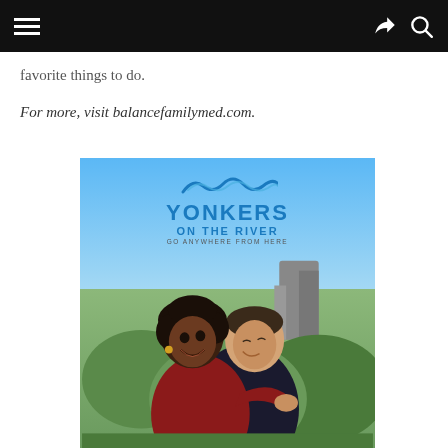Navigation bar with hamburger menu, share and search icons
favorite things to do.
For more, visit balancefamilymed.com.
[Figure (photo): Yonkers on the River advertisement image showing a happy couple embracing outdoors, with the Yonkers on the River logo ('GO ANYWHERE FROM HERE') at the top against a blue sky background.]